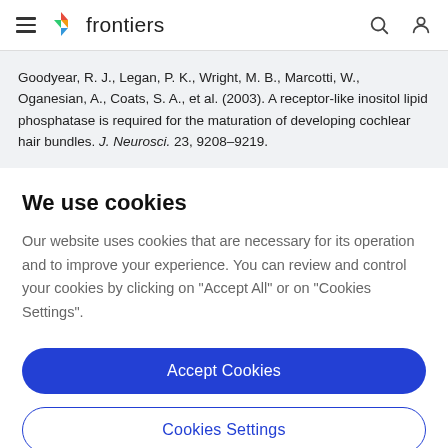frontiers
Goodyear, R. J., Legan, P. K., Wright, M. B., Marcotti, W., Oganesian, A., Coats, S. A., et al. (2003). A receptor-like inositol lipid phosphatase is required for the maturation of developing cochlear hair bundles. J. Neurosci. 23, 9208–9219.
We use cookies
Our website uses cookies that are necessary for its operation and to improve your experience. You can review and control your cookies by clicking on "Accept All" or on "Cookies Settings".
Accept Cookies
Cookies Settings